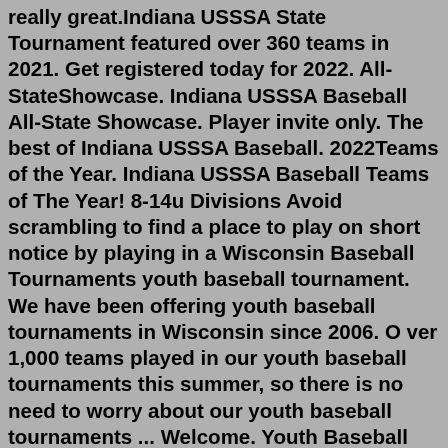really great.Indiana USSSA State Tournament featured over 360 teams in 2021. Get registered today for 2022. All-StateShowcase. Indiana USSSA Baseball All-State Showcase. Player invite only. The best of Indiana USSSA Baseball. 2022Teams of the Year. Indiana USSSA Baseball Teams of The Year! 8-14u Divisions Avoid scrambling to find a place to play on short notice by playing in a Wisconsin Baseball Tournaments youth baseball tournament. We have been offering youth baseball tournaments in Wisconsin since 2006. O ver 1,000 teams played in our youth baseball tournaments this summer, so there is no need to worry about our youth baseball tournaments ... Welcome. Youth Baseball Tournament Finder is a web site dedicated to provide up to date information on baseball tournaments in the USA. Our goal is to provide a comprehensible site that is easy to navigate and find listed tournament by age, location and date. 2021-2022 State Tournament Media Information Sports Officials Go Back Sports Officials Overview... 2022 Section 8AA Baseball Tournament